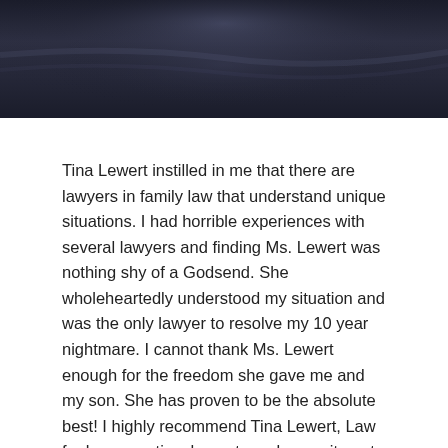[Figure (photo): Dark navy/charcoal decorative header image with a shiny fabric or surface texture, serving as a banner at the top of the page.]
Tina Lewert instilled in me that there are lawyers in family law that understand unique situations. I had horrible experiences with several lawyers and finding Ms. Lewert was nothing shy of a Godsend. She wholeheartedly understood my situation and was the only lawyer to resolve my 10 year nightmare. I cannot thank Ms. Lewert enough for the freedom she gave me and my son. She has proven to be the absolute best! I highly recommend Tina Lewert, Law for her expertise, honesty and commitment to her clients.